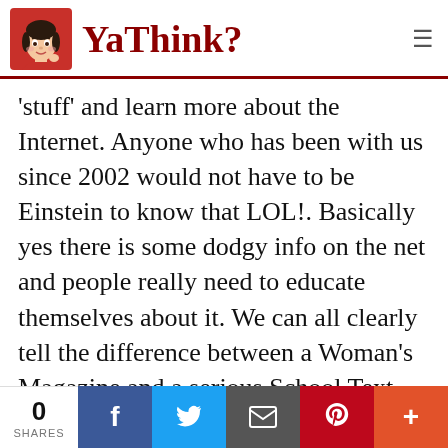YaThink?
'stuff' and learn more about the Internet. Anyone who has been with us since 2002 would not have to be Einstein to know that LOL!. Basically yes there is some dodgy info on the net and people really need to educate themselves about it. We can all clearly tell the difference between a Woman's Magazine and a serious School Text book, so apply the same objective theory to the Internet, you will find that
0 SHARES | Facebook | Twitter | Email | Pinterest | +